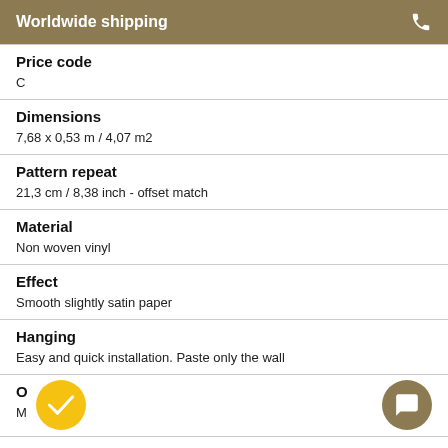Worldwide shipping
Price code
C
Dimensions
7,68 x 0,53 m / 4,07 m2
Pattern repeat
21,3 cm / 8,38 inch - offset match
Material
Non woven vinyl
Effect
Smooth slightly satin paper
Hanging
Easy and quick installation. Paste only the wall
Origin
Made in EU